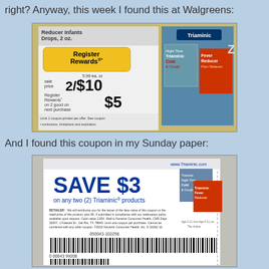right? Anyway, this week I found this at Walgreens:
[Figure (photo): Photo of Walgreens store ad showing Triaminic Fever Reducer Infants Drops 2 oz. with Register Rewards promotion: sale price 2/$10, Register Rewards $5 on 2 good on next purchase, like paying 2/$5. Limit 1 coupon printed per offer. See coupon for exclusions, limitations and expiration.]
And I found this coupon in my Sunday paper:
[Figure (photo): Photo of a Triaminic coupon from Sunday paper showing SAVE $3 on any two (2) Triaminic products, www.Triaminic.com, with retailer text and barcodes 050043-102258 and 00043 99208.]